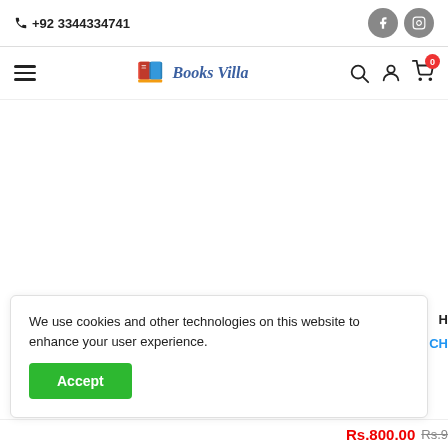📞 +92 3344334741
[Figure (logo): Books Villa logo with book icon and stylized italic text]
We use cookies and other technologies on this website to enhance your user experience.
Accept
Rs.800.00  Rs.9...